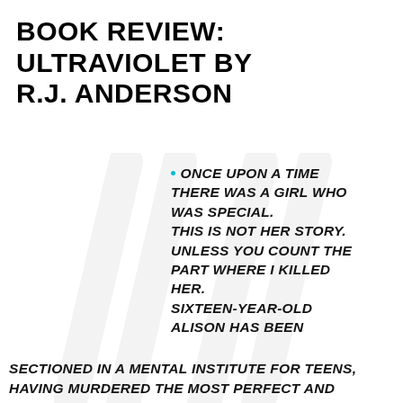BOOK REVIEW: ULTRAVIOLET BY R.J. ANDERSON
ONCE UPON A TIME THERE WAS A GIRL WHO WAS SPECIAL. THIS IS NOT HER STORY. UNLESS YOU COUNT THE PART WHERE I KILLED HER. SIXTEEN-YEAR-OLD ALISON HAS BEEN SECTIONED IN A MENTAL INSTITUTE FOR TEENS, HAVING MURDERED THE MOST PERFECT AND